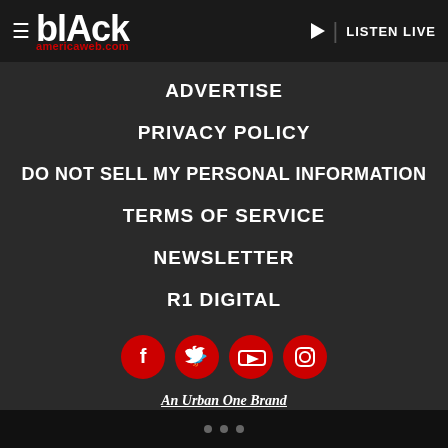blAck americaweb.com | LISTEN LIVE
ADVERTISE
PRIVACY POLICY
DO NOT SELL MY PERSONAL INFORMATION
TERMS OF SERVICE
NEWSLETTER
R1 DIGITAL
[Figure (infographic): Four red circular social media icons: Facebook, Twitter, YouTube, Instagram]
An Urban One Brand
Copyright © 2022 Interactive One, LLC. All Rights Reserved.
• • •